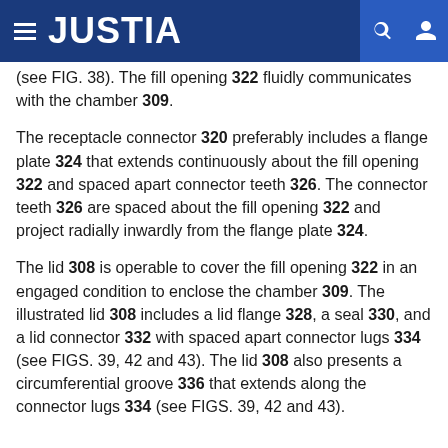JUSTIA
(see FIG. 38). The fill opening 322 fluidly communicates with the chamber 309.
The receptacle connector 320 preferably includes a flange plate 324 that extends continuously about the fill opening 322 and spaced apart connector teeth 326. The connector teeth 326 are spaced about the fill opening 322 and project radially inwardly from the flange plate 324.
The lid 308 is operable to cover the fill opening 322 in an engaged condition to enclose the chamber 309. The illustrated lid 308 includes a lid flange 328, a seal 330, and a lid connector 332 with spaced apart connector lugs 334 (see FIGS. 39, 42 and 43). The lid 308 also presents a circumferential groove 336 that extends along the connector lugs 334 (see FIGS. 39, 42 and 43).